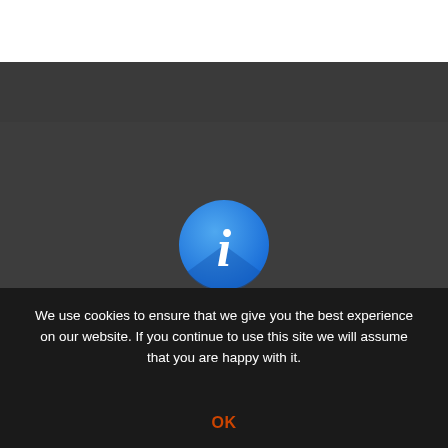[Figure (illustration): Blue circle information icon with italic lowercase 'i' in white on a blue gradient background]
Privacy Policy
Cookies
ANPC
We use cookies to ensure that we give you the best experience on our website. If you continue to use this site we will assume that you are happy with it.
OK